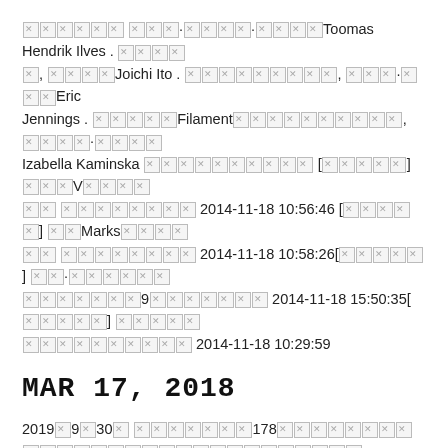[CJK/corrupted text] Toomas Hendrik Ilves . [CJK/corrupted], [CJK]Joichi Ito . [CJK/corrupted], [CJK]·[CJK]Eric Jennings . [CJK]Filament[CJK], [CJK]·[CJK] Izabella Kaminska [CJK] [[CJK]] [CJK]V[CJK] [CJK] 2014-11-18 10:56:46 [[CJK]] [CJK]Marks[CJK] [CJK] 2014-11-18 10:58:26[[CJK]] [CJK]·[CJK] [CJK]9[CJK] 2014-11-18 15:50:35[[CJK]] [CJK] [CJK] 2014-11-18 10:29:59
Mar 17, 2018
2019[CJK]9[CJK]30[CJK] [CJK]178[CJK repeated/corrupted] ATM[CJK]
[CJK link text]
[CJK link text]excel